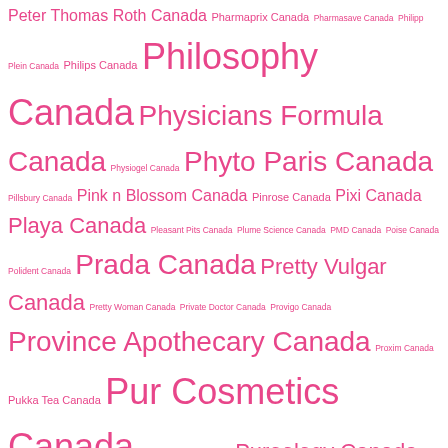Peter Thomas Roth Canada Pharmaprix Canada Pharmasave Canada Philipp Plein Canada Philips Canada Philosophy Canada Physicians Formula Canada Physiogel Canada Phyto Paris Canada Pillsbury Canada Pink n Blossom Canada Pinrose Canada Pixi Canada Playa Canada Pleasant Pits Canada Plume Science Canada PMD Canada Poise Canada Polident Canada Prada Canada Pretty Vulgar Canada Pretty Woman Canada Private Doctor Canada Provigo Canada Province Apothecary Canada Proxim Canada Pukka Tea Canada Pur Cosmetics Canada Purely Panache Canada Pureology Canada Purlisse Beauty Canada QMS Medicosmetics Canada Quaker Canada Quo Canada Radius Canada Raincry Shine Canada Rakuten.ca Canada Rakuten.com Canada Rakuten Canada Rakuten US Canada Ralph Lauren Canada Rapidlash Canada Rare Beauty Canada Real Canadian Superstore Canada RealHer Cosmetics Canada Rebels Refinery Canada REDAVID Hair Canada Reddit Canada Redken Canada Refine Naturals Canada Ren Canada Renew Actives Canada Revlon Canada